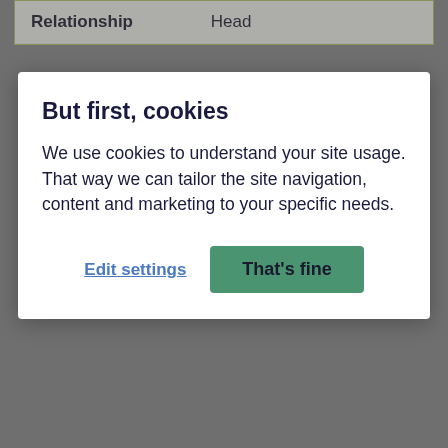| Relationship | Head |
[Figure (screenshot): Cookie consent modal dialog with title 'But first, cookies', body text about cookie usage, and two buttons: 'Edit settings' (link style) and 'That's fine' (green button)]
|  | Dorset, England |
| First name(s) | Drusilla |
| Last name | Wallis |
| Relationship | Wife |
| Marital status | Married |